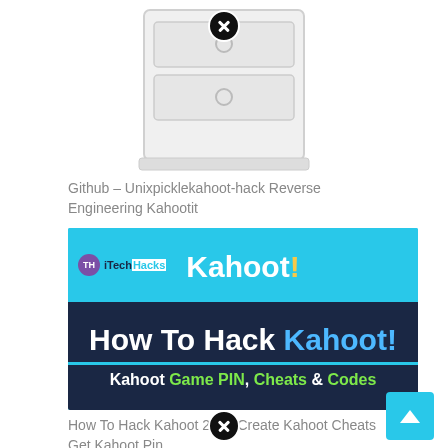[Figure (illustration): Cropped top portion of a filing cabinet illustration on white background, with a circular close/dismiss button overlay.]
Github – Unixpicklekahoot-hack Reverse Engineering Kahootit
[Figure (screenshot): iTechHacks banner image for 'How To Hack Kahoot!' showing the Kahoot! logo on a light blue background on top, and text 'How To Hack Kahoot! Kahoot Game PIN, Cheats & Codes' on a dark navy background below with a cyan accent bar.]
How To Hack Kahoot 2022 Create Kahoot Cheats Get Kahoot Pin